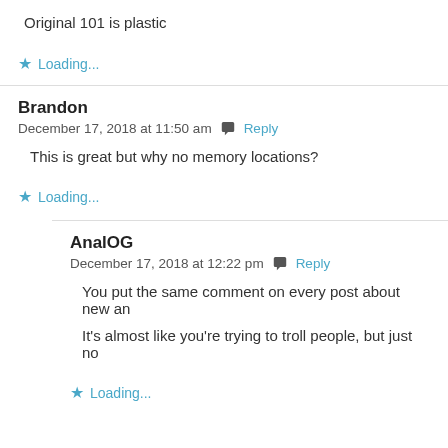Original 101 is plastic
Loading...
Brandon
December 17, 2018 at 11:50 am  Reply
This is great but why no memory locations?
Loading...
AnalOG
December 17, 2018 at 12:22 pm  Reply
You put the same comment on every post about new an
It’s almost like you’re trying to troll people, but just no
Loading...